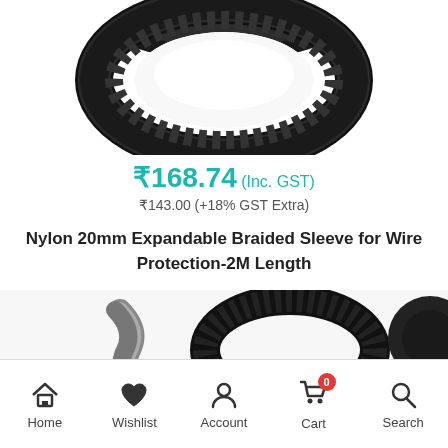[Figure (photo): Top portion of a black nylon braided sleeve coiled/rolled, viewed from above on white background]
₹168.74 (Inc. GST)
₹143.00 (+18% GST Extra)
Nylon 20mm Expandable Braided Sleeve for Wire Protection-2M Length
[Figure (photo): Bottom partial view showing braided sleeve products - grey rope-like sleeve on left and black braided coil in center, partial black circle on right]
Home  Wishlist  Account  Cart (0)  Search